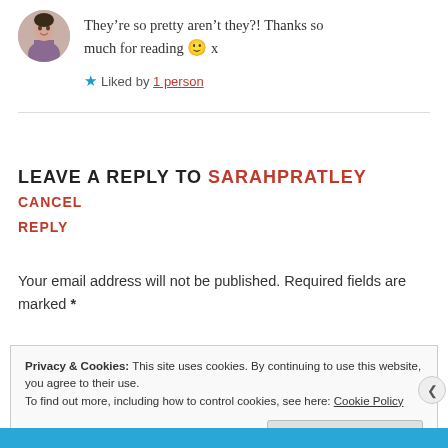They’re so pretty aren’t they?! Thanks so much for reading 🙂 x
★ Liked by 1 person
LEAVE A REPLY TO SARAHPRATLEY CANCEL REPLY
Your email address will not be published. Required fields are marked *
Privacy & Cookies: This site uses cookies. By continuing to use this website, you agree to their use.
To find out more, including how to control cookies, see here: Cookie Policy